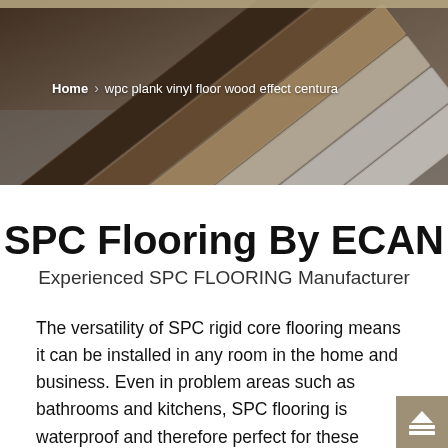[Figure (photo): Fan of vinyl flooring planks in various wood-effect colors and finishes spread out on a grey surface, used as a hero banner image]
Home > wpc plank vinyl floor wood effect centura
SPC Flooring By ECAN
Experienced SPC FLOORING Manufacturer
The versatility of SPC rigid core flooring means it can be installed in any room in the home and business. Even in problem areas such as bathrooms and kitchens, SPC flooring is waterproof and therefore perfect for these installations. With the ultra stable core, it is also ideal for